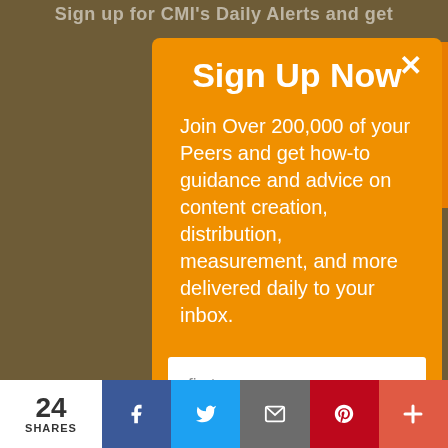Sign up for CMI's Daily Alerts and get
Sign Up Now
Join Over 200,000 of your Peers and get how-to guidance and advice on content creation, distribution, measurement, and more delivered daily to your inbox.
first name
business email
Sign Up Now
24
SHARES